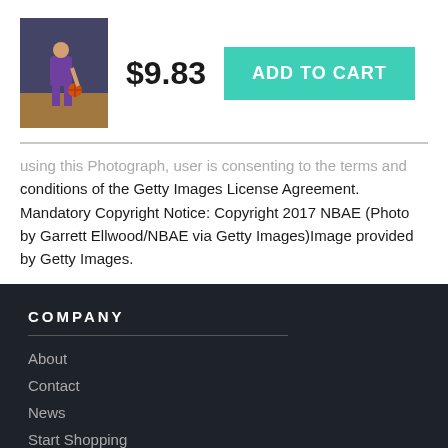[Figure (photo): Basketball player in purple uniform dribbling ball on court]
$9.83
ADD TO CART
...using this Photograph, user is consenting to the terms and conditions of the Getty Images License Agreement. Mandatory Copyright Notice: Copyright 2017 NBAE (Photo by Garrett Ellwood/NBAE via Getty Images)Image provided by Getty Images.
COMPANY
About
Contact
News
Start Shopping
PERSONAL INFORMATION
Do Not Sell My Personal